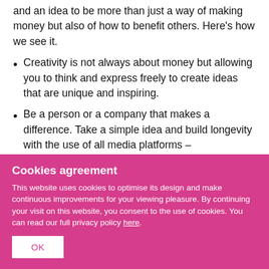and an idea to be more than just a way of making money but also of how to benefit others. Here's how we see it.
Creativity is not always about money but allowing you to think and express freely to create ideas that are unique and inspiring.
Be a person or a company that makes a difference. Take a simple idea and build longevity with the use of all media platforms –
Cookies agreement
This website uses cookies to optimise its design and make continuous improvements for your viewing pleasure. By continuing your visit on this website, you consent to the use of cookies. You can read our full privacy policy here.